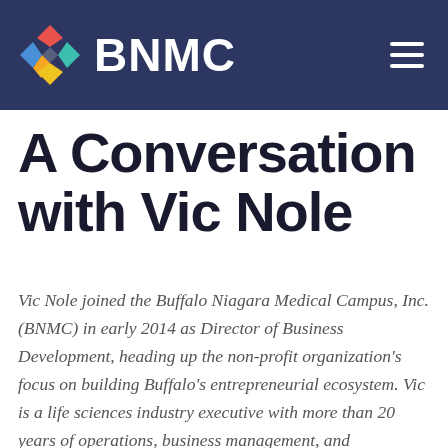BNMC
A Conversation with Vic Nole
Vic Nole joined the Buffalo Niagara Medical Campus, Inc. (BNMC) in early 2014 as Director of Business Development, heading up the non-profit organization's focus on building Buffalo's entrepreneurial ecosystem. Vic is a life sciences industry executive with more than 20 years of operations, business management, and entrepreneurial experience. Prior to the BNMC, he managed a private consulting firm that focused on